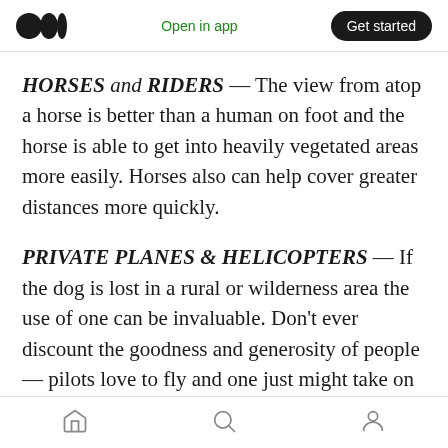Medium logo | Open in app | Get started
HORSES and RIDERS — The view from atop a horse is better than a human on foot and the horse is able to get into heavily vegetated areas more easily. Horses also can help cover greater distances more quickly.
PRIVATE PLANES & HELICOPTERS — If the dog is lost in a rural or wilderness area the use of one can be invaluable. Don't ever discount the goodness and generosity of people — pilots love to fly and one just might take on the task of looking for a missing dog.
Home | Search | Profile